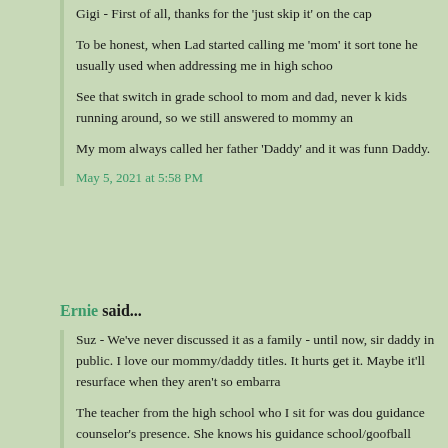Gigi - First of all, thanks for the 'just skip it' on the cap
To be honest, when Lad started calling me 'mom' it sort of tone he usually used when addressing me in high schoo
See that switch in grade school to mom and dad, never kids running around, so we still answered to mommy an
My mom always called her father 'Daddy' and it was funn Daddy.
May 5, 2021 at 5:58 PM
Ernie said...
Suz - We've never discussed it as a family - until now, sir daddy in public. I love our mommy/daddy titles. It hurts get it. Maybe it'll resurface when they aren't so embarra
The teacher from the high school who I sit for was dou guidance counselor's presence. She knows his guidance school/goofball attitude Tank leads with at school. She 'incident.'